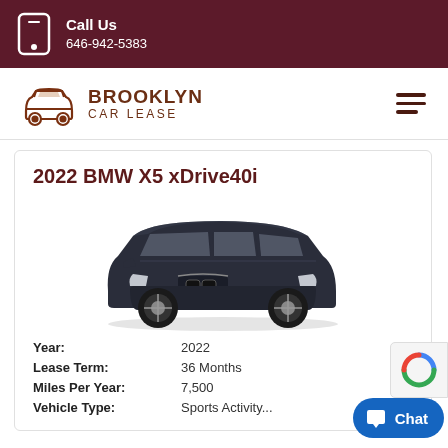Call Us
646-942-5383
[Figure (logo): Brooklyn Car Lease logo with car icon and text]
2022 BMW X5 xDrive40i
[Figure (photo): Dark navy blue 2022 BMW X5 xDrive40i SUV, 3/4 front view on white background]
| Field | Value |
| --- | --- |
| Year: | 2022 |
| Lease Term: | 36 Months |
| Miles Per Year: | 7,500 |
| Vehicle Type: | Sports Activity... |